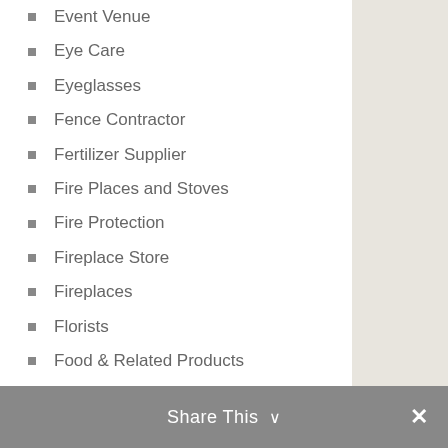Event Venue
Eye Care
Eyeglasses
Fence Contractor
Fertilizer Supplier
Fire Places and Stoves
Fire Protection
Fireplace Store
Fireplaces
Florists
Food & Related Products
Food Delivery Service
Food Franchise
Foundation Repair
Freight Forwarding
Furniture
Furniture Store
Share This